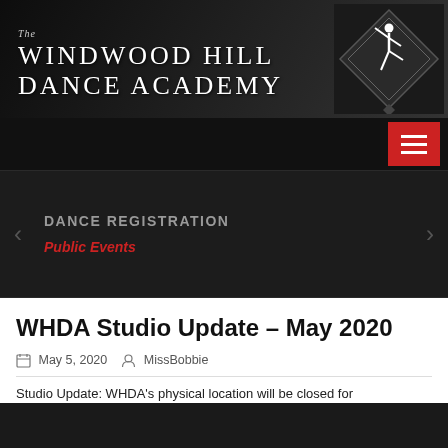[Figure (logo): The Windwood Hill Dance Academy logo — text on left with stylized dancer in diamond shape on right, on dark background]
[Figure (other): Dark navigation bar with red hamburger menu button on right]
[Figure (other): Dark slider panel with left/right navigation arrows]
DANCE REGISTRATION
Public Events
WHDA Studio Update – May 2020
May 5, 2020   MissBobbie
Studio Update: WHDA's physical location will be closed for